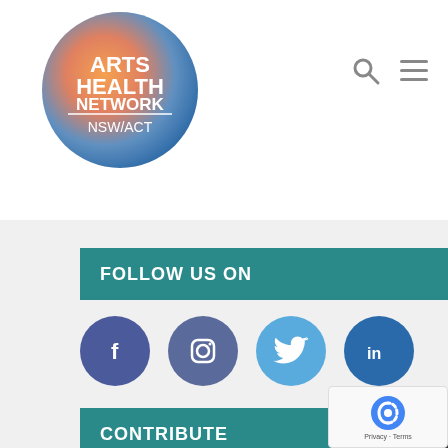[Figure (logo): Arts Health Network NSW/ACT circular logo with gradient background (orange to blue) and white text]
[Figure (infographic): Search icon (magnifying glass) and hamburger menu icon in grey]
FOLLOW US ON
[Figure (infographic): Social media icons: Facebook (dark blue circle with f), Instagram (medium blue circle with camera icon), Twitter (light blue circle with bird icon), LinkedIn (dark blue circle with in)]
CONTRIBUTE
[Figure (logo): Google reCAPTCHA badge with Privacy and Terms text]